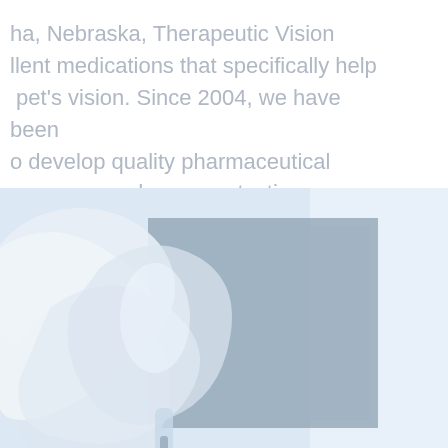ha, Nebraska, Therapeutic Vision llent medications that specifically help pet's vision. Since 2004, we have been o develop quality pharmaceutical eye care and neuroprotection.
[Figure (photo): Close-up photo of medical/pharmaceutical IV bag or dropper bottle on a light blue background with a grey rectangular panel in the background]